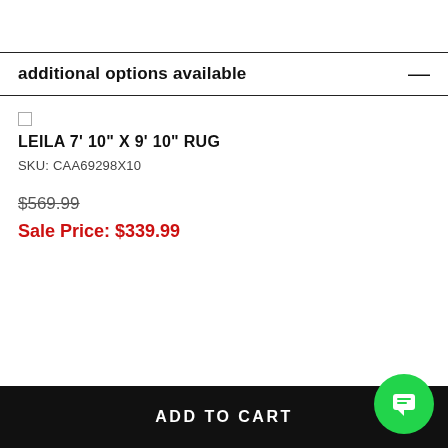additional options available
LEILA 7' 10" X 9' 10" RUG
SKU: CAA69298X10
$569.99
Sale Price: $339.99
ADD TO CART